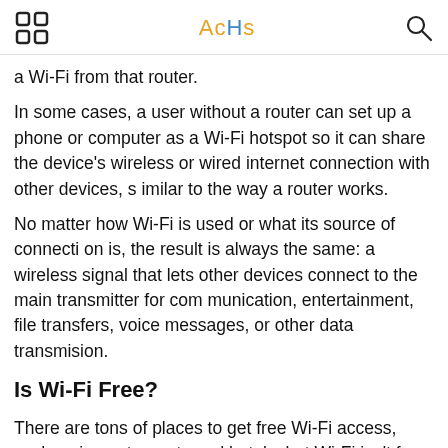AcHs
a Wi-Fi from that router.
In some cases, a user without a router can set up a phone or computer as a Wi-Fi hotspot so it can share the device's wireless or wired internet connection with other devices, similar to the way a router works.
No matter how Wi-Fi is used or what its source of connection is, the result is always the same: a wireless signal that lets other devices connect to the main transmitter for communication, entertainment, file transfers, voice messages, or other data transmision.
Is Wi-Fi Free?
There are tons of places to get free Wi-Fi access, such as in restaurants and hotels, but Wi-Fi isn't free in all cases. T h tt d f Wi Fi d th t th l d